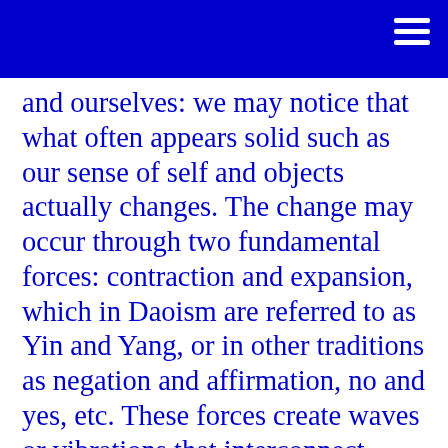and ourselves: we may notice that what often appears solid such as our sense of self and objects actually changes. The change may occur through two fundamental forces: contraction and expansion, which in Daoism are referred to as Yin and Yang, or in other traditions as negation and affirmation, no and yes, etc. These forces create waves or vibrations that interconnect everything. Thus, the universe appears as an interconnected field of vibrations. We are integrated into this field. Even when we die we remain within this field, and in